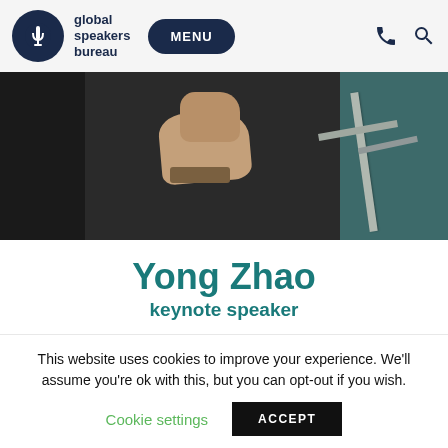global speakers bureau — MENU
[Figure (photo): Cropped photo showing a person in a dark suit jacket, visible hands/wrists with watch, near metal railings with teal background]
Yong Zhao
keynote speaker
Presidential Chair and Director of the Institute for Global
and Online Education, College of Education at the University
This website uses cookies to improve your experience. We'll assume you're ok with this, but you can opt-out if you wish.
Cookie settings    ACCEPT